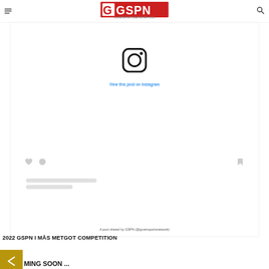GSPN - Guam Sports Network
[Figure (screenshot): Instagram embed placeholder showing Instagram logo icon and 'View this post on Instagram' link, with social action icons and loading placeholder bars, and caption 'A post shared by GSPN (@guamsportsnetwork)']
A post shared by GSPN (@guamsportsnetwork)
2022 GSPN I MÅS METGOT COMPETITION
MING SOON ...